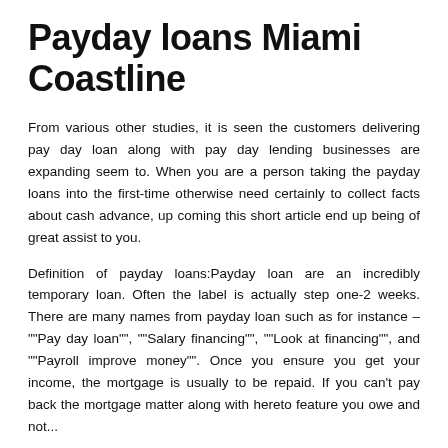Payday loans Miami Coastline
From various other studies, it is seen the customers delivering pay day loan along with pay day lending businesses are expanding seem to. When you are a person taking the payday loans into the first-time otherwise need certainly to collect facts about cash advance, up coming this short article end up being of great assist to you.
Definition of payday loans:Payday loan are an incredibly temporary loan. Often the label is actually step one-2 weeks. There are many names from payday loan such as for instance – ""Pay day loan"", ""Salary financing"", ""Look at financing"", and ""Payroll improve money"". Once you ensure you get your income, the mortgage is usually to be repaid. If you can't pay back the mortgage matter along with hereto feature you owe and not...